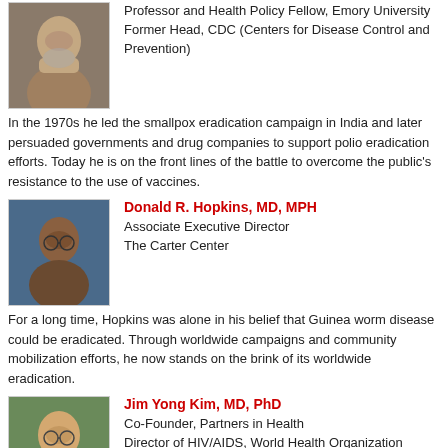[Figure (photo): Portrait photo of a bearded elderly man]
Professor and Health Policy Fellow, Emory University
Former Head, CDC (Centers for Disease Control and Prevention)
In the 1970s he led the smallpox eradication campaign in India and later persuaded governments and drug companies to support polio eradication efforts. Today he is on the front lines of the battle to overcome the public's resistance to the use of vaccines.
[Figure (photo): Portrait photo of Donald R. Hopkins]
Donald R. Hopkins, MD, MPH
Associate Executive Director
The Carter Center
For a long time, Hopkins was alone in his belief that Guinea worm disease could be eradicated. Through worldwide campaigns and community mobilization efforts, he now stands on the brink of its worldwide eradication.
[Figure (photo): Portrait photo of Jim Yong Kim]
Jim Yong Kim, MD, PhD
Co-Founder, Partners in Health
Director of HIV/AIDS, World Health Organization
Supported in part by a MacArthur Foundation genius grant he received in 2003, Kim is on his way to achieving an ambitious goal: to get three million AIDS patients worldwide onto antiretroviral drugs by the end of 2005.
[Figure (photo): Partial portrait photo of Rohima]
Rohima